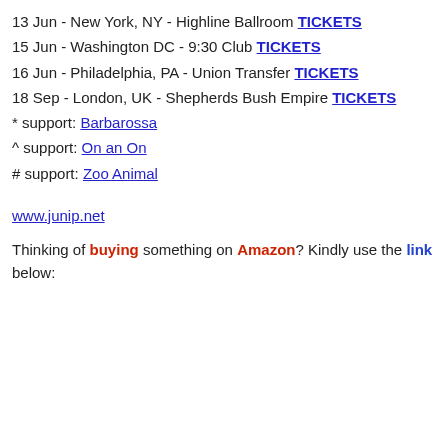13 Jun - New York, NY - Highline Ballroom TICKETS
15 Jun - Washington DC - 9:30 Club TICKETS
16 Jun - Philadelphia, PA - Union Transfer TICKETS
18 Sep - London, UK - Shepherds Bush Empire TICKETS
* support: Barbarossa
^ support: On an On
# support: Zoo Animal
www.junip.net
Thinking of buying something on Amazon? Kindly use the link below: